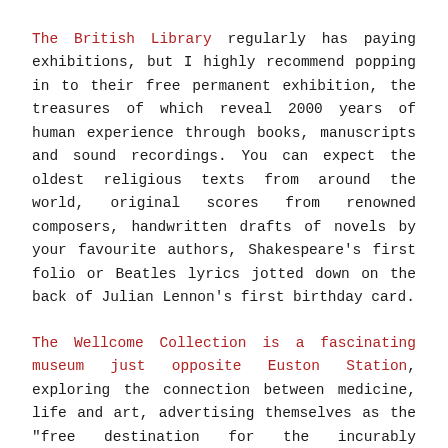The British Library regularly has paying exhibitions, but I highly recommend popping in to their free permanent exhibition, the treasures of which reveal 2000 years of human experience through books, manuscripts and sound recordings. You can expect the oldest religious texts from around the world, original scores from renowned composers, handwritten drafts of novels by your favourite authors, Shakespeare's first folio or Beatles lyrics jotted down on the back of Julian Lennon's first birthday card.
The Wellcome Collection is a fascinating museum just opposite Euston Station, exploring the connection between medicine, life and art, advertising themselves as the “free destination for the incurably curious”.